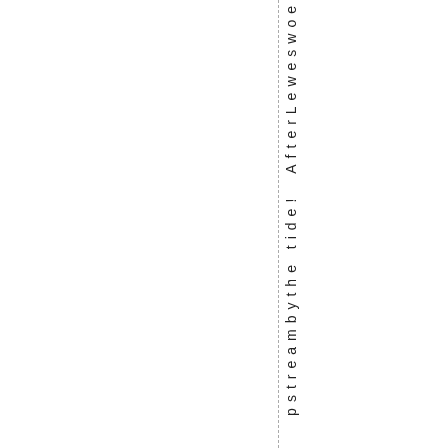pstreambythe tide! AfterLeweswoe